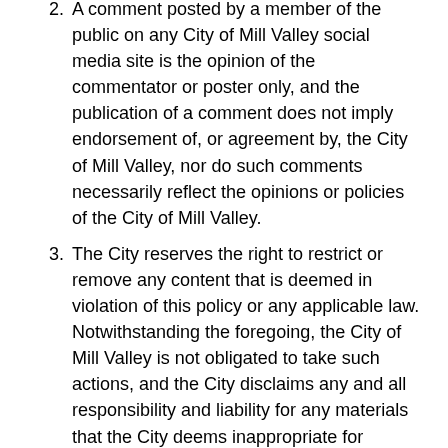A comment posted by a member of the public on any City of Mill Valley social media site is the opinion of the commentator or poster only, and the publication of a comment does not imply endorsement of, or agreement by, the City of Mill Valley, nor do such comments necessarily reflect the opinions or policies of the City of Mill Valley.
The City reserves the right to restrict or remove any content that is deemed in violation of this policy or any applicable law. Notwithstanding the foregoing, the City of Mill Valley is not obligated to take such actions, and the City disclaims any and all responsibility and liability for any materials that the City deems inappropriate for posting, which cannot be removed in an expeditious and otherwise timely manner.
By posting a comment, users agree to indemnify the City of Mill Valley, its officers and employees from and against all liabilities, judgments, costs and attorneys’ fees.